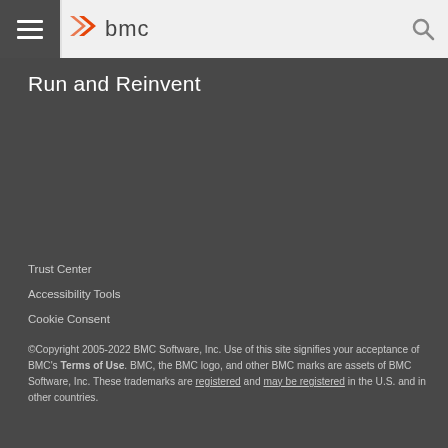BMC Software navigation bar with hamburger menu, BMC logo, and search icon
Run and Reinvent
Trust Center
Accessibility Tools
Cookie Consent
©Copyright 2005-2022 BMC Software, Inc. Use of this site signifies your acceptance of BMC's Terms of Use. BMC, the BMC logo, and other BMC marks are assets of BMC Software, Inc. These trademarks are registered and may be registered in the U.S. and in other countries.